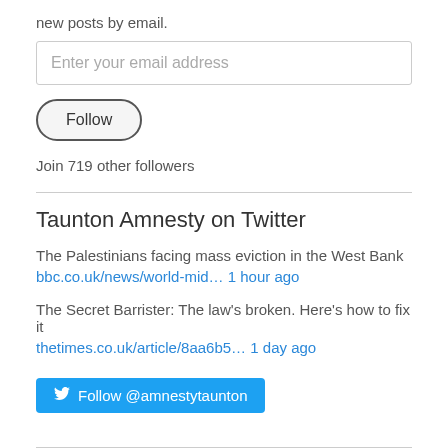new posts by email.
Enter your email address
Follow
Join 719 other followers
Taunton Amnesty on Twitter
The Palestinians facing mass eviction in the West Bank
bbc.co.uk/news/world-mid… 1 hour ago
The Secret Barrister: The law's broken. Here's how to fix it
thetimes.co.uk/article/8aa6b5… 1 day ago
Follow @amnestytaunton